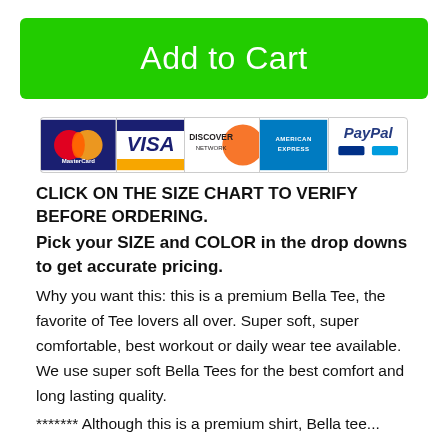Add to Cart
[Figure (logo): Payment method icons: MasterCard, VISA, Discover, American Express, PayPal]
CLICK ON THE SIZE CHART TO VERIFY BEFORE ORDERING.
Pick your SIZE and COLOR in the drop downs to get accurate pricing.
Why you want this: this is a premium Bella Tee, the favorite of Tee lovers all over. Super soft, super comfortable, best workout or daily wear tee available. We use super soft Bella Tees for the best comfort and long lasting quality.
******* Although this is a premium shirt, Bella tee...